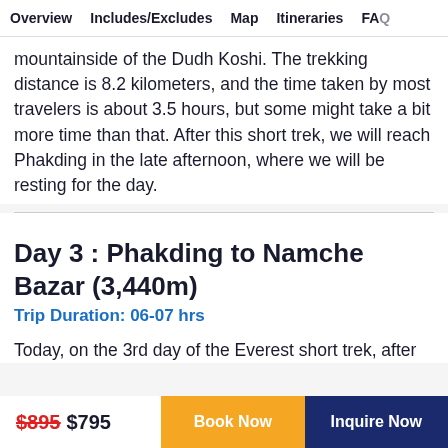Overview  Includes/Excludes  Map  Itineraries  FAQs
mountainside of the Dudh Koshi. The trekking distance is 8.2 kilometers, and the time taken by most travelers is about 3.5 hours, but some might take a bit more time than that. After this short trek, we will reach Phakding in the late afternoon, where we will be resting for the day.
Day 3 : Phakding to Namche Bazar (3,440m)
Trip Duration: 06-07 hrs
Today, on the 3rd day of the Everest short trek, after